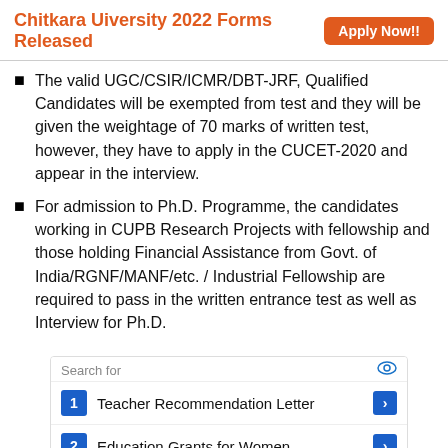Chitkara Uiversity 2022 Forms Released  Apply Now!!
The valid UGC/CSIR/ICMR/DBT-JRF, Qualified Candidates will be exempted from test and they will be given the weightage of 70 marks of written test, however, they have to apply in the CUCET-2020 and appear in the interview.
For admission to Ph.D. Programme, the candidates working in CUPB Research Projects with fellowship and those holding Financial Assistance from Govt. of India/RGNF/MANF/etc. / Industrial Fellowship are required to pass in the written entrance test as well as Interview for Ph.D.
[Figure (infographic): Advertisement search box with two rows: 1. Teacher Recommendation Letter, 2. Education Grants for Women, with blue arrow buttons on the right.]